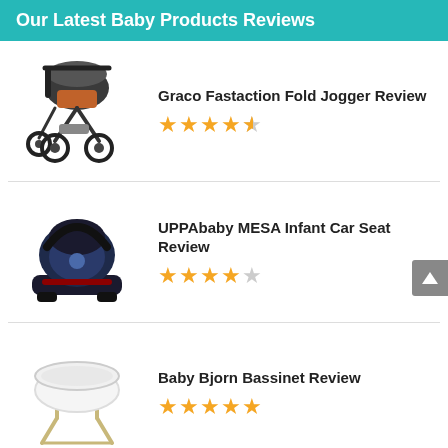Our Latest Baby Products Reviews
Graco Fastaction Fold Jogger Review
[Figure (illustration): Graco Fastaction Fold Jogger stroller, black with orange accents, three-wheel design]
★★★★½ (4.5 stars)
UPPAbaby MESA Infant Car Seat Review
[Figure (illustration): UPPAbaby MESA Infant Car Seat, dark navy blue on black base]
★★★★☆ (4 stars)
Baby Bjorn Bassinet Review
[Figure (illustration): Baby Bjorn Bassinet, white oval bassinet on light wood metal stand]
★★★★★ (5 stars)